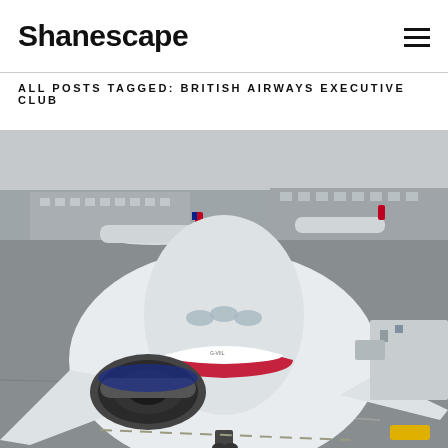Shanescape
ALL POSTS TAGGED: BRITISH AIRWAYS EXECUTIVE CLUB
[Figure (photo): British Airways Boeing 777 aircraft parked at a gate at Heathrow Airport, viewed head-on from the tarmac. The large white aircraft with British Airways livery fills the foreground, with a jet bridge attached on the right. In the background, airport terminal buildings and other aircraft on the apron are visible under an overcast sky.]